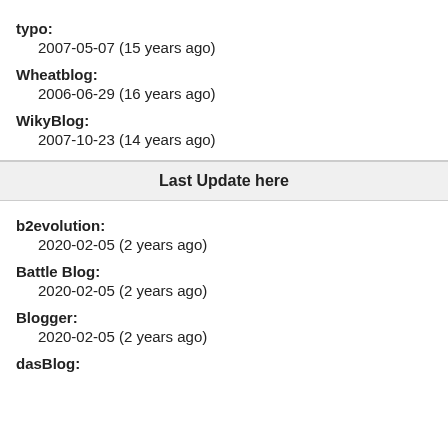typo:
2007-05-07 (15 years ago)
Wheatblog:
2006-06-29 (16 years ago)
WikyBlog:
2007-10-23 (14 years ago)
Last Update here
b2evolution:
2020-02-05 (2 years ago)
Battle Blog:
2020-02-05 (2 years ago)
Blogger:
2020-02-05 (2 years ago)
dasBlog: